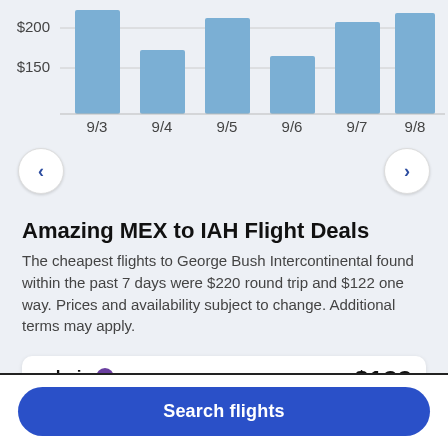[Figure (bar-chart): Flight prices by date]
Amazing MEX to IAH Flight Deals
The cheapest flights to George Bush Intercontinental found within the past 7 days were $220 round trip and $122 one way. Prices and availability subject to change. Additional terms may apply.
| Airline | Date | Price | Type |
| --- | --- | --- | --- |
| volaris | Tue, May 2 | $122 | One way |
Search flights